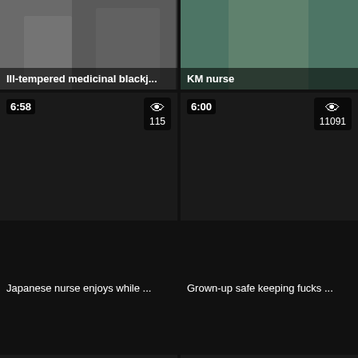[Figure (screenshot): Video thumbnail grid showing adult video site with 6 video thumbnails and titles]
Ill-tempered medicinal blackj...
KM nurse
6:58 | 115 views
6:00 | 11091 views
Japanese nurse enjoys while ...
Grown-up safe keeping fucks ...
6:57 | 2696 views
18:23 | 357 views
POV video of topless Momok...
Mi doctora es una cachon...
25:31 views
25:11 views